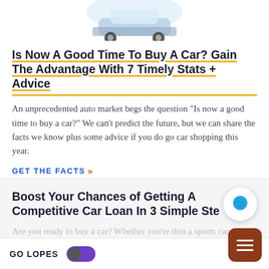[Figure (illustration): Partial illustration of a car, cropped at top of page]
Is Now A Good Time To Buy A Car? Gain The Advantage With 7 Timely Stats + Advice
An unprecedented auto market begs the question "Is now a good time to buy a car?" We can't predict the future, but we can share the facts we know plus some advice if you do go car shopping this year.
GET THE FACTS »
Boost Your Chances of Getting A Competitive Car Loan In 3 Simple Ste
Are you ready to buy a car? Whether you're thin a sports car for yourself or a van the family, you'll probably need to get a loan to
GO LOPES